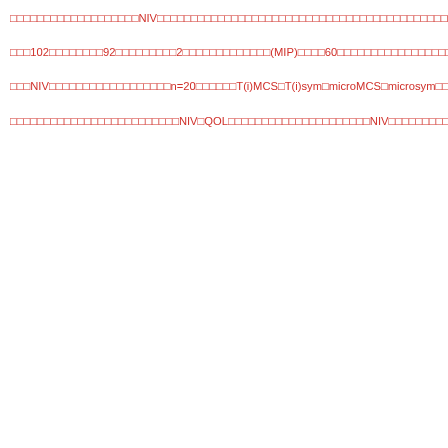□□□□□□□□□□□□□□□□□□□NIV□□□□□□□□□□□□□□□□□□□□□□□□□□□□□□□□□□□□□□□□□□□□□□□□□□□□□□□□□□□□□□□□□□□□□□□□□□□□□□NIV□□□□□□□□□□□□□
□□□102□□□□□□□□92□□□□□□□□□2□□□□□□□□□□□□□(MIP)□□□□60□□□□□□□□□□□□□□□□□□□□□□□□□□NIV□□n=22□□□□□□□□□□n=19□□□□□□□□□□□□□□□□□□□QOL□□□□□□□□SF36□□□□□□□□□□□□□MCS□□□□□□□□□□QOL□□□□□□□□sym□□□□□□□□□□□□□75□□□□□□□□□□□□□T(i)MCS□□T(i)sym□□□□□□microMCS□□microsym□□□□□□□□
□□□NIV□□□□□□□□□□□□□□□□□□n=20□□□□□□T(i)MCS□T(i)sym□microMCS□microsym□□□□□□□□□□□□□□□□□□□□□QOL□□□□□□□□□□□□□□□□□□□205□□p=0.006□□□□□□□□□□□□QOL□□□□□□□□□□□□□□□□□□□NIV□□microsym□□□□□□□□QOL□□□□□□□□p=0.018□□□□□□□□□□□□□□□□□□
□□□□□□□□□□□□□□□□□□□□□□□□□NIV□QOL□□□□□□□□□□□□□□□□□□□□□NIV□□□□□□□□□□□□□□□□□□□□□□□□□□□□□□□□□□□□□□□□□□□□□□□□□□□□□□□□□□□□□□NIV□□□□□□□□□□□□□□□□□□□□□□□□□□□□□□□□□□□□□